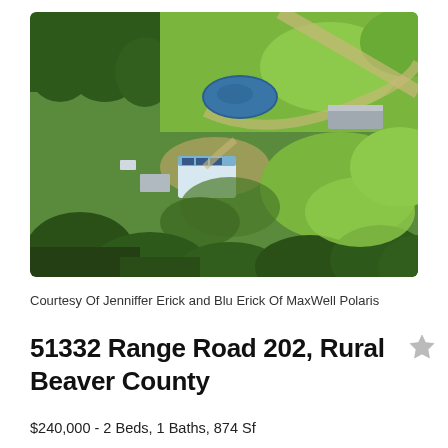[Figure (photo): Aerial drone photograph of a rural property showing a house with solar panels, outbuildings, a small pond, gravel driveway, and surrounding green fields and trees.]
Courtesy Of Jenniffer Erick and Blu Erick Of MaxWell Polaris
51332 Range Road 202, Rural Beaver County
$240,000 - 2 Beds, 1 Baths, 874 Sf